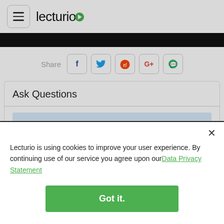[Figure (logo): Lecturio logo with hamburger menu icon and brand name]
[Figure (screenshot): Dark video player strip at top]
Share
[Figure (infographic): Social share buttons: Facebook, Twitter, Reddit, Google+, WhatsApp]
Ask Questions
Lecturio is using cookies to improve your user experience. By continuing use of our service you agree upon our Data Privacy Statement
Got it.